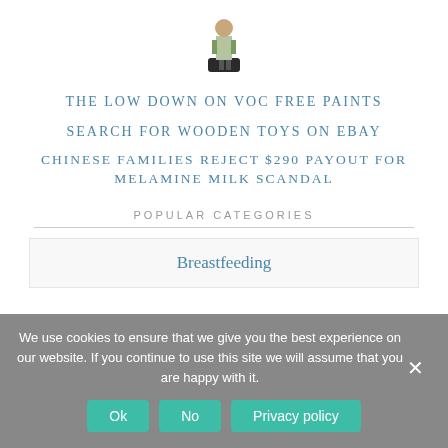[Figure (photo): Small image of a figure/person on a dark base, centered at top of page]
THE LOW DOWN ON VOC FREE PAINTS
SEARCH FOR WOODEN TOYS ON EBAY
CHINESE FAMILIES REJECT $290 PAYOUT FOR MELAMINE MILK SCANDAL
POPULAR CATEGORIES
Breastfeeding
We use cookies to ensure that we give you the best experience on our website. If you continue to use this site we will assume that you are happy with it.